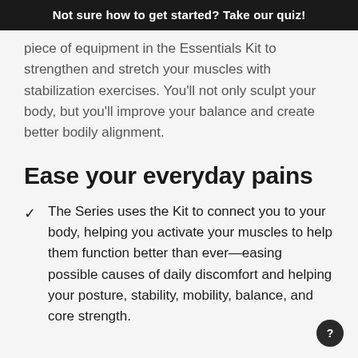Not sure how to get started? Take our quiz!
piece of equipment in the Essentials Kit to strengthen and stretch your muscles with stabilization exercises. You'll not only sculpt your body, but you'll improve your balance and create better bodily alignment.
Ease your everyday pains
The Series uses the Kit to connect you to your body, helping you activate your muscles to help them function better than ever—easing possible causes of daily discomfort and helping your posture, stability, mobility, balance, and core strength.